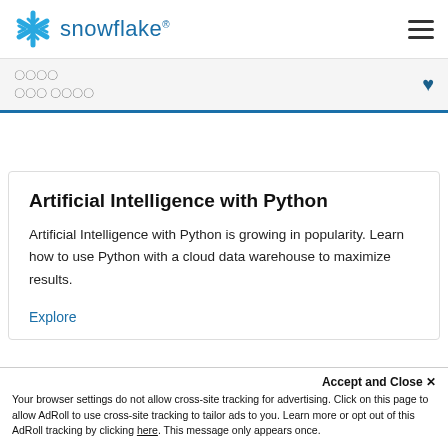snowflake
???? ??? ????
Artificial Intelligence with Python
Artificial Intelligence with Python is growing in popularity. Learn how to use Python with a cloud data warehouse to maximize results.
Explore
Accept and Close ✕ Your browser settings do not allow cross-site tracking for advertising. Click on this page to allow AdRoll to use cross-site tracking to tailor ads to you. Learn more or opt out of this AdRoll tracking by clicking here. This message only appears once.